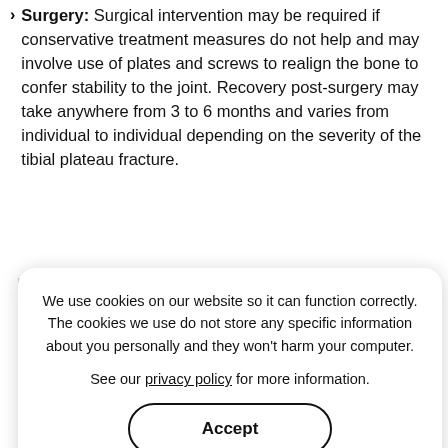Surgery: Surgical intervention may be required if conservative treatment measures do not help and may involve use of plates and screws to realign the bone to confer stability to the joint. Recovery post-surgery may take anywhere from 3 to 6 months and varies from individual to individual depending on the severity of the tibial plateau fracture.
[Figure (photo): Partially visible photo of a person, partially obscured by cookie consent dialog overlay]
We use cookies on our website so it can function correctly. The cookies we use do not store any specific information about you personally and they won't harm your computer.

See our privacy policy for more information.

[Accept button]